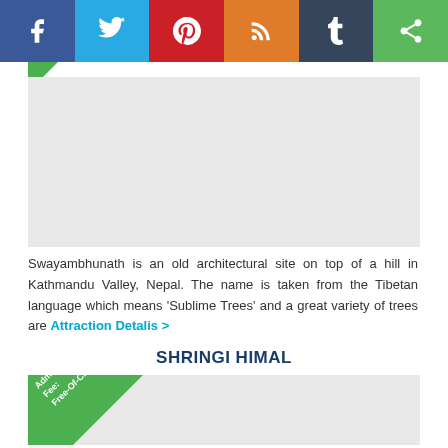[Figure (other): Social sharing bar with icons for Facebook, Twitter, Pinterest, RSS, Tumblr, and Share]
[Figure (photo): Image placeholder area (light grey rectangle) for Swayambhunath photo]
Swayambhunath is an old architectural site on top of a hill in Kathmandu Valley, Nepal. The name is taken from the Tibetan language which means ‘Sublime Trees’ and a great variety of trees are Attraction Detalis >
SHRINGI HIMAL
[Figure (photo): Image placeholder with green 'Admission Fee: Free-Of-Charge' badge triangle in top-left corner]